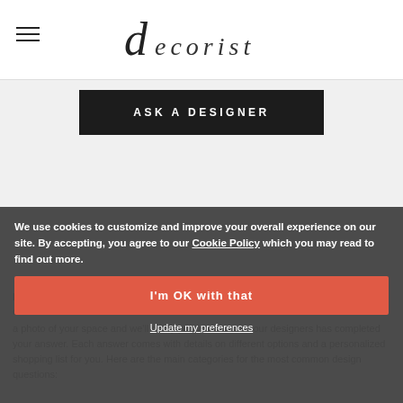decorist
ASK A DESIGNER
Free Interior Design Q&A - Decorist Design Bar
of our 400+ interior
We use cookies to customize and improve your overall experience on our site. By accepting, you agree to our Cookie Policy which you may read to find out more.
I'm OK with that
Update my preferences
a photo of your space and we'll notify you when one of our designers has completed your answer. Each answer comes with details on different options and a personalized shopping list for you. Here are the main categories for the most common design questions: